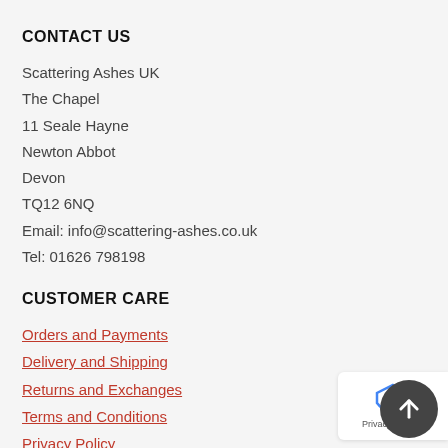CONTACT US
Scattering Ashes UK
The Chapel
11 Seale Hayne
Newton Abbot
Devon
TQ12 6NQ
Email: info@scattering-ashes.co.uk
Tel: 01626 798198
CUSTOMER CARE
Orders and Payments
Delivery and Shipping
Returns and Exchanges
Terms and Conditions
Privacy Policy
Cookie Policy